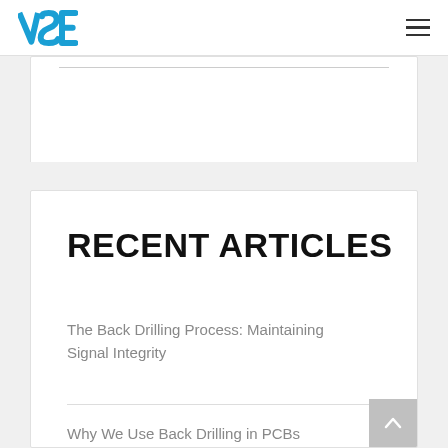VSE
RECENT ARTICLES
The Back Drilling Process: Maintaining Signal Integrity
Why We Use Back Drilling in PCBs